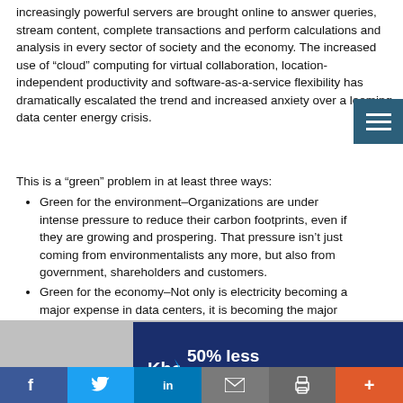increasingly powerful servers are brought online to answer queries, stream content, complete transactions and perform calculations and analysis in every sector of society and the economy. The increased use of “cloud” computing for virtual collaboration, location-independent productivity and software-as-a-service flexibility has dramatically escalated the trend and increased anxiety over a looming data center energy crisis.
This is a “green” problem in at least three ways:
Green for the environment–Organizations are under intense pressure to reduce their carbon footprints, even if they are growing and prospering. That pressure isn’t just coming from environmentalists any more, but also from government, shareholders and customers.
Green for the economy–Not only is electricity becoming a major expense in data centers, it is becoming the major expense for IT operations. And unfortunately,
[Figure (screenshot): Advertisement banner: Khoros logo with text '50% less agent attrition' on dark blue background with photo of people]
[Figure (infographic): Social media sharing bar with Facebook, Twitter, LinkedIn, Email, Print, and More buttons]